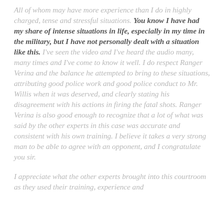All of whom may have more experience than I do in highly charged, tense and stressful situations. You know I have had my share of intense situations in life, especially in my time in the military, but I have not personally dealt with a situation like this. I've seen the video and I've heard the audio many, many times and I've come to know it well. I do respect Ranger Verina and the balance he attempted to bring to these situations, attributing good police work and good police conduct to Mr. Willis when it was deserved, and clearly stating his disagreement with his actions in firing the fatal shots. Ranger Verina is also good enough to recognize that a lot of what was said by the other experts in this case was accurate and consistent with his own training. I believe it takes a very strong man to be able to agree with an opponent, and I congratulate you sir.
I appreciate what the other experts brought into this courtroom as they used their training, experience and